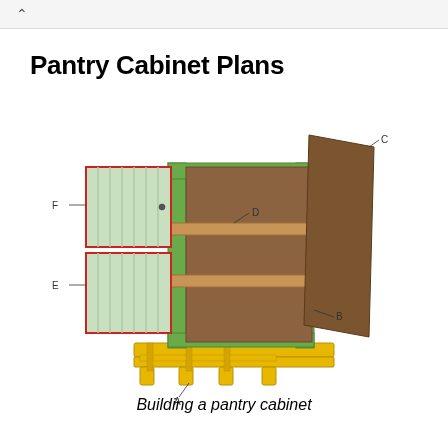^
Pantry Cabinet Plans
[Figure (engineering-diagram): Exploded view diagram of a pantry cabinet showing labeled parts: A (yellow base/toe-kick frame), B (green cabinet body/side panel), C (brown back panel), D (interior shelf upper), E (door panel lower section with red border), F (door panel upper section with red border). The cabinet has two wooden shelves inside a green frame with a brown back, sitting on a yellow platform base.]
Building a pantry cabinet